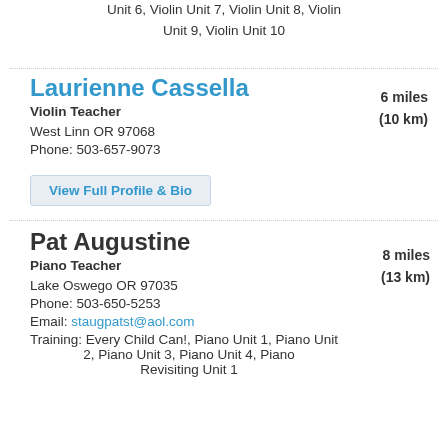Unit 6, Violin Unit 7, Violin Unit 8, Violin Unit 9, Violin Unit 10
Laurienne Cassella
Violin Teacher
West Linn OR 97068
Phone: 503-657-9073
6 miles (10 km)
View Full Profile & Bio
Pat Augustine
Piano Teacher
Lake Oswego OR 97035
Phone: 503-650-5253
Email: staugpatst@aol.com
Training: Every Child Can!, Piano Unit 1, Piano Unit 2, Piano Unit 3, Piano Unit 4, Piano Revisiting Unit 1
8 miles (13 km)